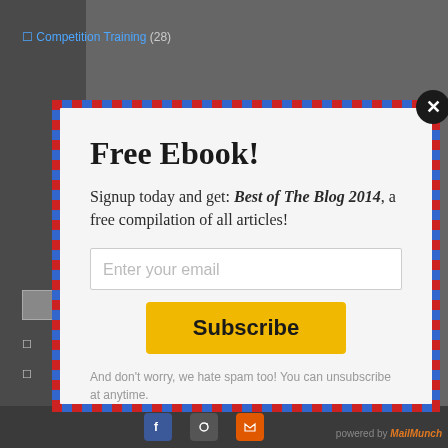Competition Training (28)
[Figure (screenshot): Email subscription popup modal with airmail-style striped border. Contains title 'Free Ebook!', subtitle about signing up to get 'Best of The Blog 2014', email input field, Subscribe button, and anti-spam reassurance text. Close button (X) in top right corner.]
Free Ebook!
Signup today and get: Best of The Blog 2014, a free compilation of all articles!
Enter your email
Subscribe
And don't worry, we hate spam too! You can unsubscribe at anytime.
powered by MailMunch